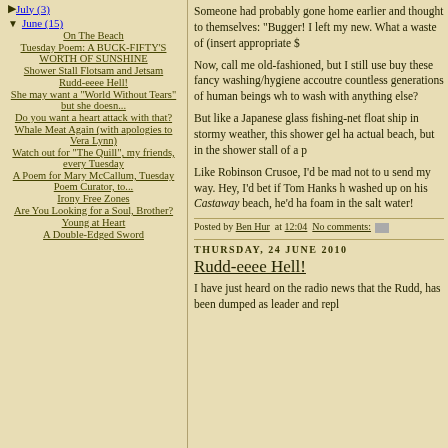▶ July (3)
▼ June (15)
On The Beach
Tuesday Poem: A BUCK-FIFTY'S WORTH OF SUNSHINE
Shower Stall Flotsam and Jetsam
Rudd-eeee Hell!
She may want a "World Without Tears" but she doesn...
Do you want a heart attack with that?
Whale Meat Again (with apologies to Vera Lynn)
Watch out for "The Quill", my friends, every Tuesday
A Poem for Mary McCallum, Tuesday Poem Curator, to...
Irony Free Zones
Are You Looking for a Soul, Brother?
Young at Heart
A Double-Edged Sword
Someone had probably gone home earlier and thought to themselves: "Bugger! I left my new. What a waste of (insert appropriate $
Now, call me old-fashioned, but I still use buy these fancy washing/hygiene accoutre countless generations of human beings wh to wash with anything else?
But like a Japanese glass fishing-net float ship in stormy weather, this shower gel ha actual beach, but in the shower stall of a p
Like Robinson Crusoe, I'd be mad not to u send my way. Hey, I'd bet if Tom Hanks h washed up on his Castaway beach, he'd ha foam in the salt water!
Posted by Ben Hur at 12:04 No comments:
THURSDAY, 24 JUNE 2010
Rudd-eeee Hell!
I have just heard on the radio news that the Rudd, has been dumped as leader and repl